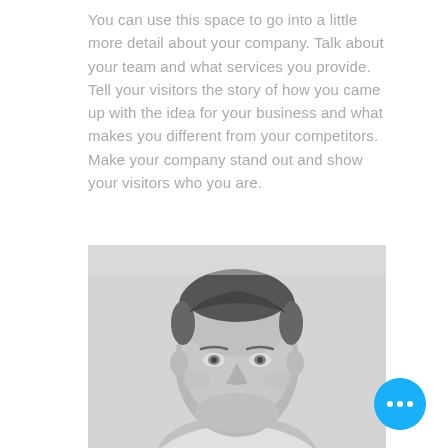You can use this space to go into a little more detail about your company. Talk about your team and what services you provide. Tell your visitors the story of how you came up with the idea for your business and what makes you different from your competitors. Make your company stand out and show your visitors who you are.
[Figure (photo): Black and white headshot photo of a smiling middle-aged man with short dark hair, facing the camera, wearing a light-colored shirt, against a light gray background.]